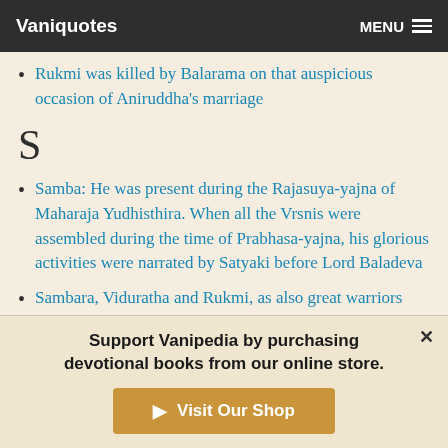Vaniquotes | MENU
Rukmi was killed by Balarama on that auspicious occasion of Aniruddha's marriage
S
Samba: He was present during the Rajasuya-yajna of Maharaja Yudhisthira. When all the Vrsnis were assembled during the time of Prabhasa-yajna, his glorious activities were narrated by Satyaki before Lord Baladeva
Sambara, Viduratha and Rukmi, as also great warriors like Kamboja, Matsya, Kuru, Srnjaya and Kekaya, would all
Support Vanipedia by purchasing devotional books from our online store. Visit Our Shop